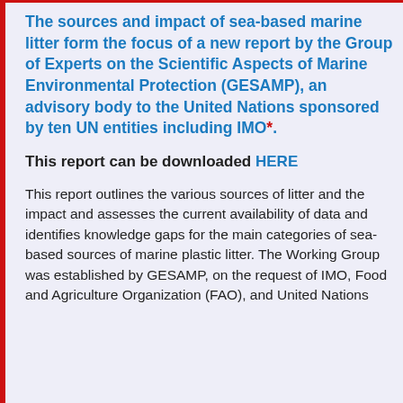The sources and impact of sea-based marine litter form the focus of a new report by the Group of Experts on the Scientific Aspects of Marine Environmental Protection (GESAMP), an advisory body to the United Nations sponsored by ten UN entities including IMO*.
This report can be downloaded HERE
This report outlines the various sources of litter and the impact and assesses the current availability of data and identifies knowledge gaps for the main categories of sea-based sources of marine plastic litter. The Working Group was established by GESAMP, on the request of IMO, Food and Agriculture Organization (FAO), and United Nations